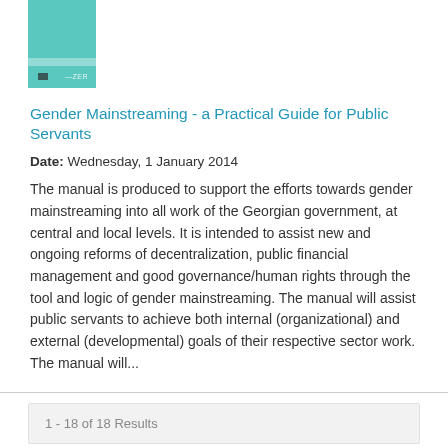[Figure (illustration): Book thumbnail with teal/turquoise cover, horizontal stripe and small dark rectangle at bottom left, with text at bottom right]
Gender Mainstreaming - a Practical Guide for Public Servants
Date: Wednesday, 1 January 2014
The manual is produced to support the efforts towards gender mainstreaming into all work of the Georgian government, at central and local levels. It is intended to assist new and ongoing reforms of decentralization, public financial management and good governance/human rights through the tool and logic of gender mainstreaming. The manual will assist public servants to achieve both internal (organizational) and external (developmental) goals of their respective sector work. The manual will...
1 - 18 of 18 Results
Follow us